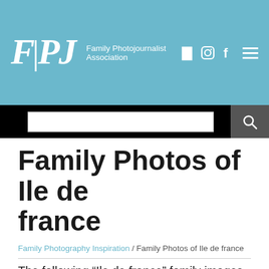F|PJ  Family Photojournalist Association
Family Photos of Ile de france
Family Photography Inspiration / Family Photos of Ile de france
The following “Ile de france” family images were created by award-winning reportage and documentary photographers from the FPJA organization. These contest awarded pictures match the search result photos tagged as “Ile de france”